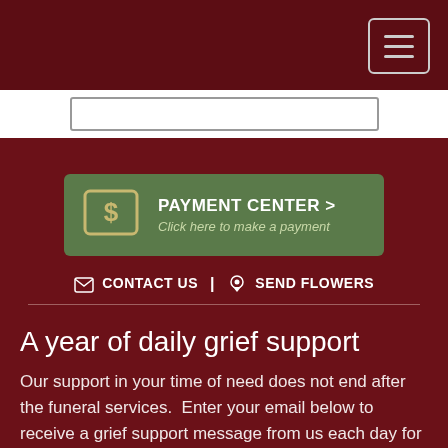Navigation header with hamburger menu
[Figure (screenshot): Search input bar]
PAYMENT CENTER > Click here to make a payment
CONTACT US | SEND FLOWERS
A year of daily grief support
Our support in your time of need does not end after the funeral services. Enter your email below to receive a grief support message from us each day for a year. You can